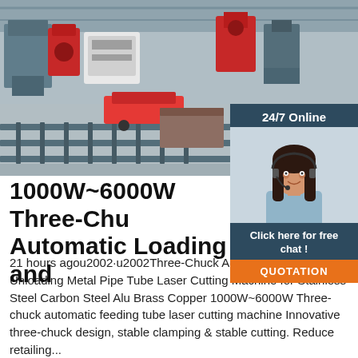[Figure (photo): Industrial factory floor showing automated laser cutting machines and metal pipe processing equipment on rails]
[Figure (photo): Customer service representative with headset smiling, with '24/7 Online' header and 'Click here for free chat!' and 'QUOTATION' button overlay]
1000W~6000W Three-Chuck Automatic Loading and
21 hours agou2002·u2002Three-Chuck Automatic Loading and Unloading Metal Pipe Tube Laser Cutting Machine for Stainless Steel Carbon Steel Alu Brass Copper 1000W~6000W Three-chuck automatic feeding tube laser cutting machine Innovative three-chuck design, stable clamping & stable cutting. Reduce retailing...